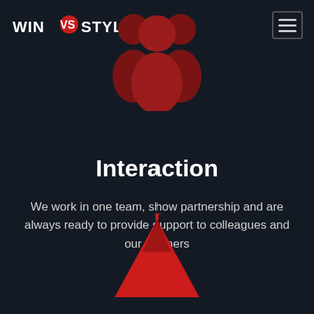[Figure (logo): WIN VS STYLE logo with red heart/checkmark icon in white text on dark background]
[Figure (illustration): Dark red silhouette icon of two people / group at the top center of the page]
[Figure (illustration): Hamburger menu icon (three horizontal lines) in a rounded rectangle border, top right]
Interaction
We work in one team, show partnership and are always ready to provide support to colleagues and our partners
[Figure (illustration): Red mountain/peak icon with a flag at the top, bottom center of the page]